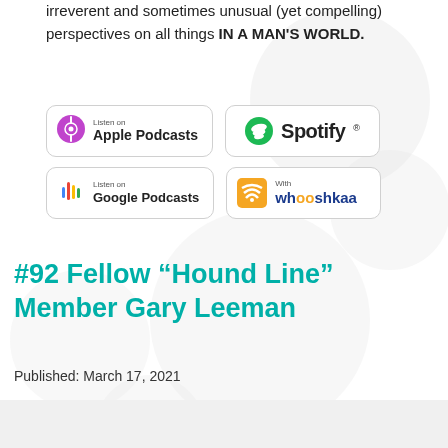irreverent and sometimes unusual (yet compelling) perspectives on all things IN A MAN'S WORLD.
[Figure (logo): Listen on Apple Podcasts badge]
[Figure (logo): Spotify badge]
[Figure (logo): Listen on Google Podcasts badge]
[Figure (logo): With Whooshkaa badge]
#92 Fellow “Hound Line” Member Gary Leeman
Published: March 17, 2021